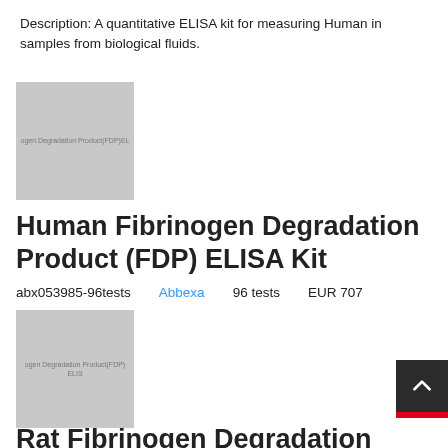Description: A quantitative ELISA kit for measuring Human in samples from biological fluids.
[Figure (photo): Product image placeholder for Human Fibrinogen Degradation Product (FDP) ELISA Kit with watermark text]
Human Fibrinogen Degradation Product (FDP) ELISA Kit
abx053985-96tests   Abbexa   96 tests   EUR 707
[Figure (photo): Product image placeholder for Rat Fibrinogen Degradation Product (FDP) ELISA Kit with watermark text]
Rat Fibrinogen Degradation Product (FDP) ELISA Kit